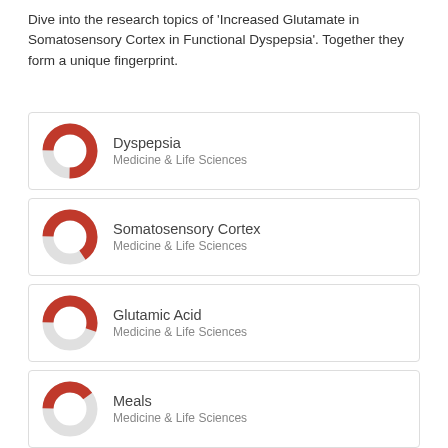Dive into the research topics of 'Increased Glutamate in Somatosensory Cortex in Functional Dyspepsia'. Together they form a unique fingerprint.
[Figure (donut-chart): Donut chart for Dyspepsia, Medicine & Life Sciences, approximately 75% filled in red]
[Figure (donut-chart): Donut chart for Somatosensory Cortex, Medicine & Life Sciences, approximately 65% filled in red]
[Figure (donut-chart): Donut chart for Glutamic Acid, Medicine & Life Sciences, approximately 55% filled in red]
[Figure (donut-chart): Donut chart for Meals, Medicine & Life Sciences, approximately 40% filled in red]
[Figure (donut-chart): Donut chart for Anxiety, Medicine & Life Sciences, approximately 35% filled in red]